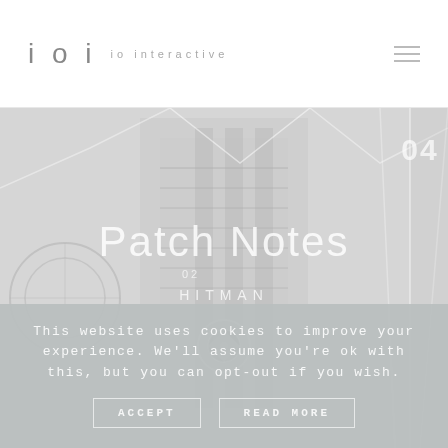ioi io interactive
[Figure (screenshot): Hero image of a futuristic/sci-fi interior environment (Hitman game) rendered in light grey tones with architectural elements, overlaid with decorative geometric lines and numbers. Text 'Patch Notes', '02', 'HITMAN', and '04' appear over the image along with a circular target crosshair icon.]
This website uses cookies to improve your experience. We'll assume you're ok with this, but you can opt-out if you wish.
ACCEPT   READ MORE